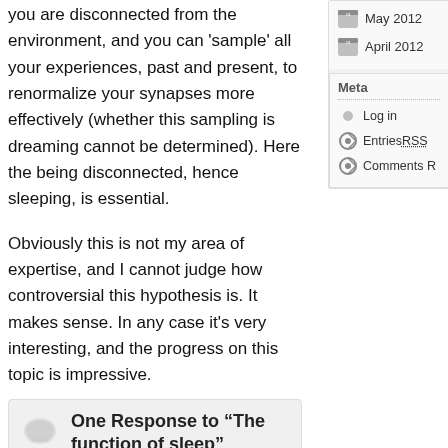you are disconnected from the environment, and you can 'sample' all your experiences, past and present, to renormalize your synapses more effectively (whether this sampling is dreaming cannot be determined). Here the being disconnected, hence sleeping, is essential.
Obviously this is not my area of expertise, and I cannot judge how controversial this hypothesis is. It makes sense. In any case it's very interesting, and the progress on this topic is impressive.
May 2012
April 2012
Meta
Log in
Entries RSS
Comments R
One Response to “The function of sleep”
oscar says:
22nd March 2013 at 18:59 JST